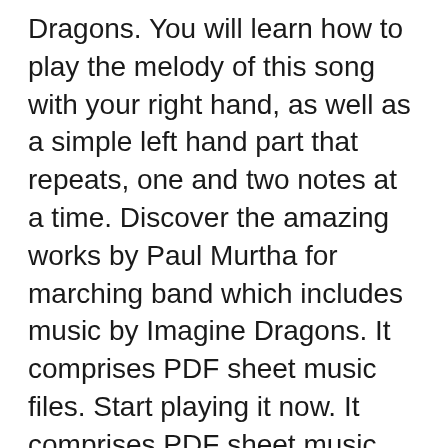Dragons. You will learn how to play the melody of this song with your right hand, as well as a simple left hand part that repeats, one and two notes at a time. Discover the amazing works by Paul Murtha for marching band which includes music by Imagine Dragons. It comprises PDF sheet music files. Start playing it now. It comprises PDF sheet music files. Start playing it now.
0 Votos negativos, marcar como no útil. Imagine Dragons — Demons — Free Piano Sheets.pdf. Cargado por ceh71720 16/01/2014 · Thursday, January 16, 2014. Demons - Sheet Music PDF Download Play Along Video. Notes. Posted by Kallyn. Labels: